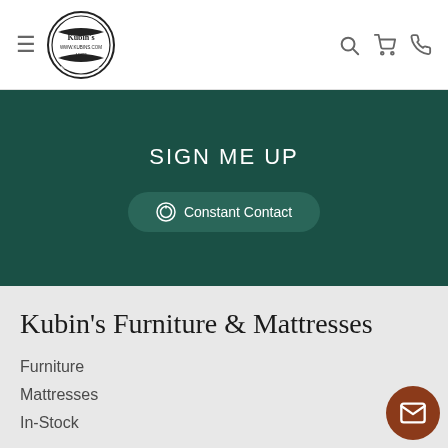Kubin's Furniture & Mattresses navigation header with logo, hamburger menu, search, cart, and phone icons
SIGN ME UP
[Figure (logo): Constant Contact button with circular logo icon]
Kubin's Furniture & Mattresses
Furniture
Mattresses
In-Stock